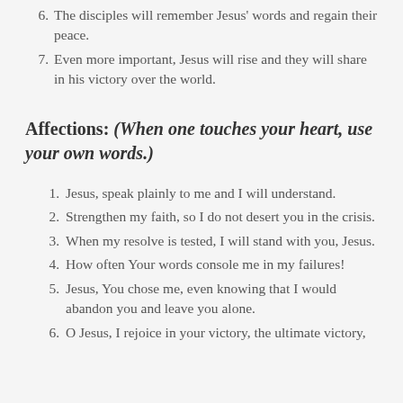6. The disciples will remember Jesus' words and regain their peace.
7. Even more important, Jesus will rise and they will share in his victory over the world.
Affections: (When one touches your heart, use your own words.)
1. Jesus, speak plainly to me and I will understand.
2. Strengthen my faith, so I do not desert you in the crisis.
3. When my resolve is tested, I will stand with you, Jesus.
4. How often Your words console me in my failures!
5. Jesus, You chose me, even knowing that I would abandon you and leave you alone.
6. O Jesus, I rejoice in your victory, the ultimate victory,